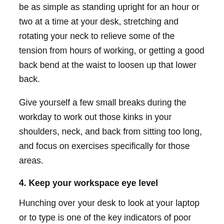be as simple as standing upright for an hour or two at a time at your desk, stretching and rotating your neck to relieve some of the tension from hours of working, or getting a good back bend at the waist to loosen up that lower back.
Give yourself a few small breaks during the workday to work out those kinks in your shoulders, neck, and back from sitting too long, and focus on exercises specifically for those areas.
4. Keep your workspace eye level
Hunching over your desk to look at your laptop or to type is one of the key indicators of poor posture. If your laptop or desktop computer isn't eye level, it makes it easy to slouch and get stuck working that way for hours.